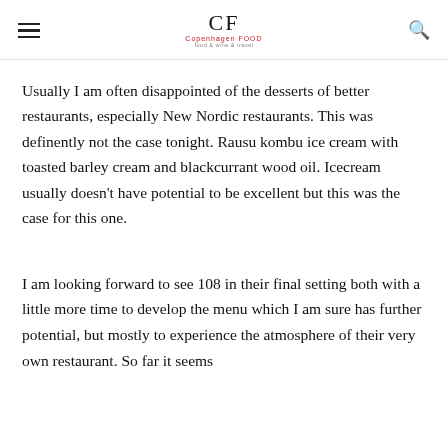CF Copenhagen FOOD
Usually I am often disappointed of the desserts of better restaurants, especially New Nordic restaurants. This was definently not the case tonight. Rausu kombu ice cream with toasted barley cream and blackcurrant wood oil. Icecream usually doesn't have potential to be excellent but this was the case for this one.
I am looking forward to see 108 in their final setting both with a little more time to develop the menu which I am sure has further potential, but mostly to experience the atmosphere of their very own restaurant. So far it seems that it...